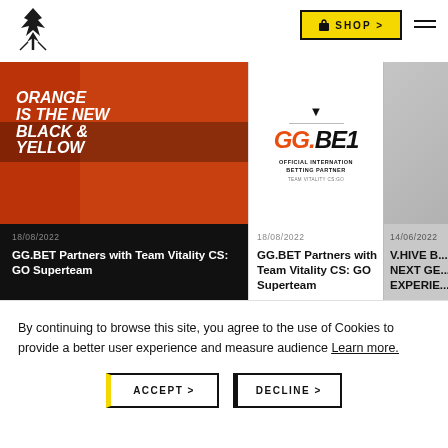[Figure (logo): Team Vitality logo (black wasp/bee icon) in top left corner]
[Figure (screenshot): Yellow SHOP > button with shopping bag icon in header]
[Figure (photo): Card 1: Orange/black photo with text overlay ORANGE IS THE NEW BLACK & YELLOW - Team Vitality news card]
[Figure (logo): Card 2: GG.BET logo with OFFICIAL INTERNATION BETTING PARTNER TEAM VITALITY CS:GO text]
[Figure (photo): Card 3 (partial): Grey/dark card partially visible, dated 14/06/2022, titled V.HIVE B... NEXT GE... EXPERIE...]
18/08/2022
GG.BET Partners with Team Vitality CS: GO Superteam
14/06/2022
V.HIVE B... NEXT GE... EXPERIE...
By continuing to browse this site, you agree to the use of Cookies to provide a better user experience and measure audience Learn more.
ACCEPT >
DECLINE >